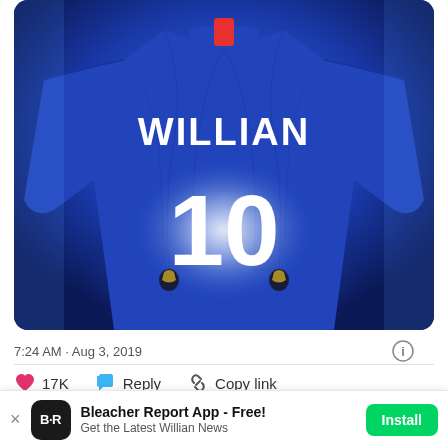[Figure (photo): Chelsea FC jersey with name WILLIAN and number 10 on the back, player facing away, blue jersey with geometric pattern, Premier League badges, dramatic blue lighting background]
7:24 AM · Aug 3, 2019
17K  Reply  Copy link
Read 494 replies
Bleacher Report App - Free!
Get the Latest Willian News
Install